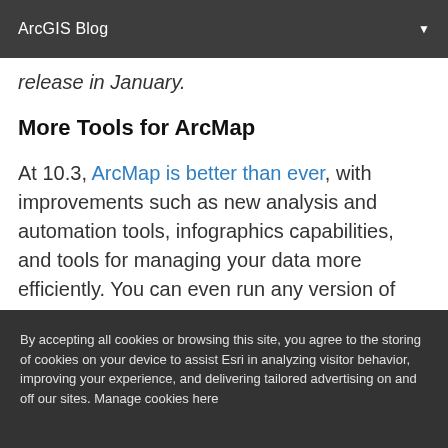ArcGIS Blog
release in January.
More Tools for ArcMap
At 10.3, ArcMap is better than ever, with improvements such as new analysis and automation tools, infographics capabilities, and tools for managing your data more efficiently. You can even run any version of ArcMap side by side with ArcGIS Pro.
By accepting all cookies or browsing this site, you agree to the storing of cookies on your device to assist Esri in analyzing visitor behavior, improving your experience, and delivering tailored advertising on and off our sites. Manage cookies here